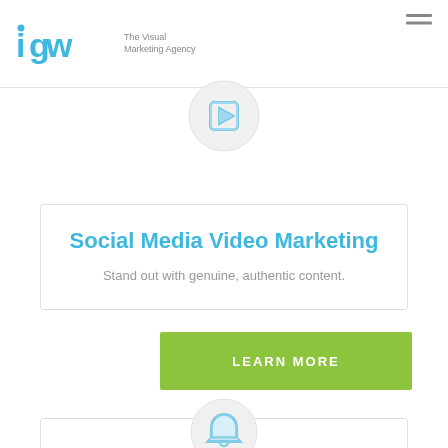igw The Visual Marketing Agency
[Figure (illustration): Play button icon inside a light gray circle, overlapping top of content card]
Social Media Video Marketing
Stand out with genuine, authentic content.
LEARN MORE
[Figure (illustration): Bell icon inside a light gray circle, overlapping top of second content card at bottom]